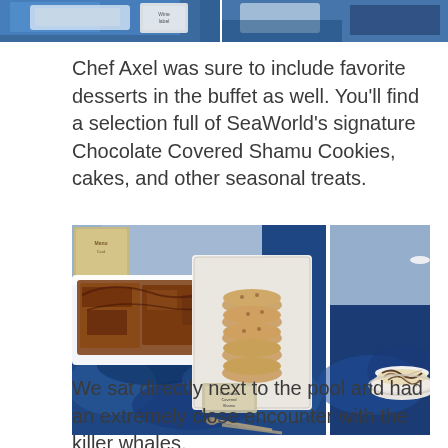[Figure (photo): Top portion of photos showing food items on blue fabric-covered table at SeaWorld buffet, partially cropped at top of page]
Chef Axel was sure to include favorite desserts in the buffet as well. You'll find a selection full of SeaWorld's signature Chocolate Covered Shamu Cookies, cakes, and other seasonal treats.
[Figure (photo): Two side-by-side photos of dessert buffet table with blue satin fabric. Left photo shows chocolate brownies/fudge, round cookies on a white plate, and a small sign reading 'Chocolate Covered Shamu Cookies' with tongs. Right photo shows a round tart/pie with chocolate drizzle on a white plate.]
We sat directly next to the pool and had an extremely close encounter with the killer whales.